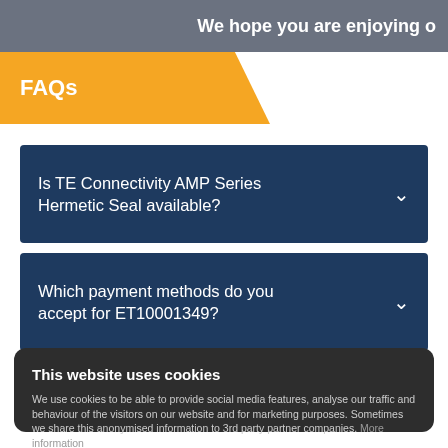We hope you are enjoying o
FAQs
Is TE Connectivity AMP Series Hermetic Seal available?
Which payment methods do you accept for ET10001349?
This website uses cookies
We use cookies to be able to provide social media features, analyse our traffic and behaviour of the visitors on our website and for marketing purposes. Sometimes we share this anonymised information to 3rd party partner companies. More information
I accept all Cookies
Change settings